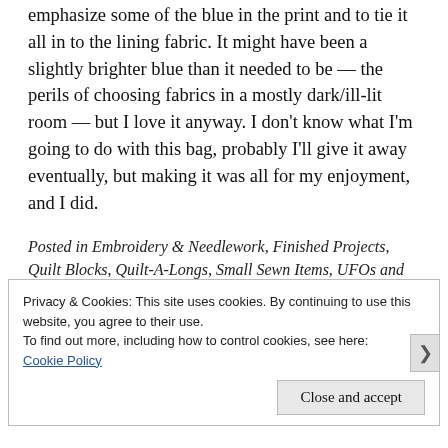emphasize some of the blue in the print and to tie it all in to the lining fabric. It might have been a slightly brighter blue than it needed to be — the perils of choosing fabrics in a mostly dark/ill-lit room — but I love it anyway. I don't know what I'm going to do with this bag, probably I'll give it away eventually, but making it was all for my enjoyment, and I did.
Posted in Embroidery & Needlework, Finished Projects, Quilt Blocks, Quilt-A-Longs, Small Sewn Items, UFOs and WIPs
Privacy & Cookies: This site uses cookies. By continuing to use this website, you agree to their use.
To find out more, including how to control cookies, see here: Cookie Policy